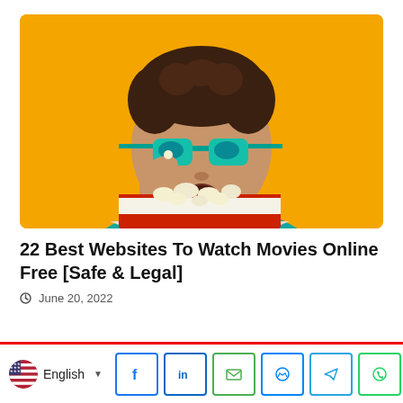[Figure (photo): Person with curly hair wearing teal sunglasses and a teal shirt, eating popcorn from a large bucket against a bright yellow/orange background]
22 Best Websites To Watch Movies Online Free [Safe & Legal]
June 20, 2022
[Figure (infographic): Bottom bar with language selector (US flag, English), and social share buttons: Facebook, LinkedIn, Email, Messenger, Telegram, WhatsApp]